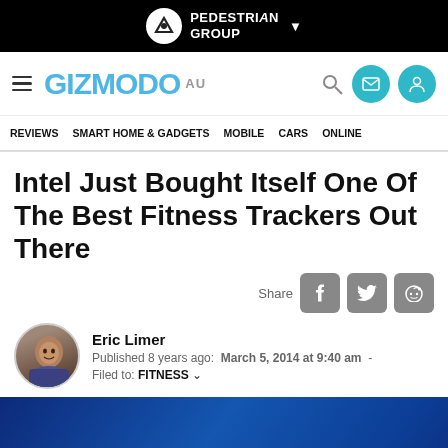PEDESTRIAN GROUP
GIZMODO AU — REVIEWS  SMART HOME & GADGETS  MOBILE  CARS  ONLINE
Intel Just Bought Itself One Of The Best Fitness Trackers Out There
Share
Eric Limer
Published 8 years ago:  March 5, 2014 at 9:40 am  -
Filed to:  FITNESS
[Figure (photo): Intel logo letters 'intel' displayed in large pale/cream colored 3D text against a dark blue background]